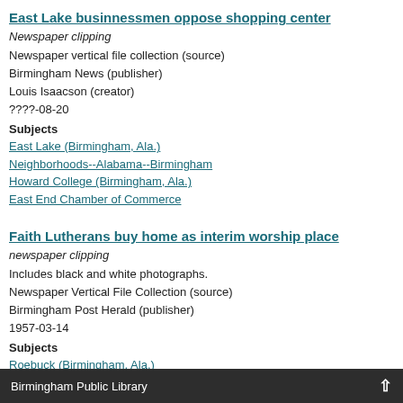East Lake businnessmen oppose shopping center
Newspaper clipping
Newspaper vertical file collection (source)
Birmingham News (publisher)
Louis Isaacson (creator)
????-08-20
Subjects
East Lake (Birmingham, Ala.)
Neighborhoods--Alabama--Birmingham
Howard College (Birmingham, Ala.)
East End Chamber of Commerce
Faith Lutherans buy home as interim worship place
newspaper clipping
Includes black and white photographs.
Newspaper Vertical File Collection (source)
Birmingham Post Herald (publisher)
1957-03-14
Subjects
Roebuck (Birmingham, Ala.)
Neighborhoods--Alabama--Birmingham
Faith Lutheran Church (Birmingham, Ala.)
East Lake (Birmingham, Ala.)
Churches--Alabama--Birmingham
Roebuck Plaza Shopping Center (Birmingham, Ala.)
East Lake C of C in making
Birmingham Public Library